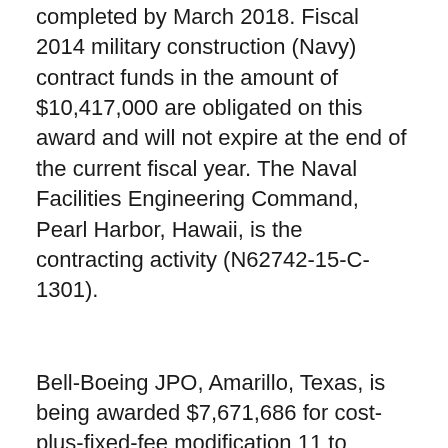completed by March 2018. Fiscal 2014 military construction (Navy) contract funds in the amount of $10,417,000 are obligated on this award and will not expire at the end of the current fiscal year. The Naval Facilities Engineering Command, Pearl Harbor, Hawaii, is the contracting activity (N62742-15-C-1301).
Bell-Boeing JPO, Amarillo, Texas, is being awarded $7,671,686 for cost-plus-fixed-fee modification 11 to deliver order 0096 under previously issued basic ordering agreement N00019-12-G-0006 in support of the V-22 aircraft. This modification provides for the